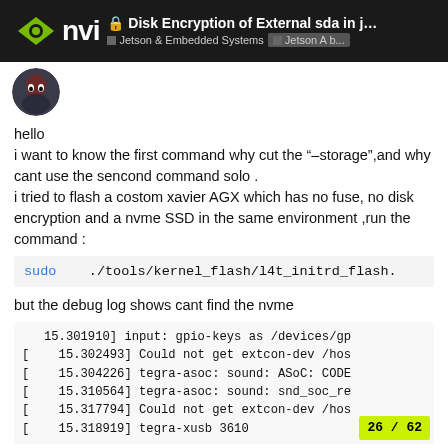Disk Encryption of External sda in jat... | Jetson & Embedded Systems | Jetson A b...
[Figure (screenshot): User avatar - dark themed portrait illustration]
hello
i want to know the first command why cut the “-storage”,and why cant use the sencond command solo .
i tried to flash a costom xavier AGX which has no fuse, no disk encryption and a nvme SSD in the same environment ,run the command :
sudo    ./tools/kernel_flash/l4t_initrd_flash.
but the debug log shows cant find the nvme
15.301910] input: gpio-keys as /devices/gp
[    15.302493] Could not get extcon-dev /hos
[    15.304226] tegra-asoc: sound: ASoC: CODE
[    15.310564] tegra-asoc: sound: snd_soc_re
[    15.317794] Could not get extcon-dev /hos
[    15.318919] tegra-xusb 3610
26 / 62